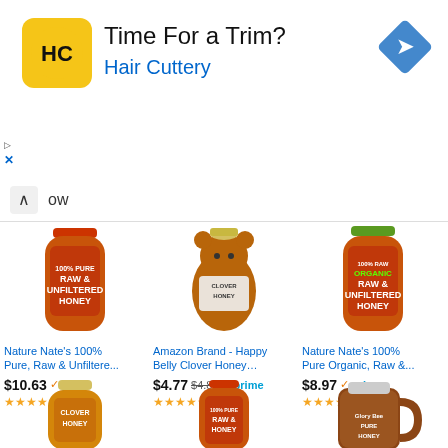[Figure (screenshot): Hair Cuttery advertisement banner with HC logo on yellow background, 'Time For a Trim?' headline, blue subtitle 'Hair Cuttery', and navigation arrow diamond icon on right]
ow
[Figure (photo): Nature Nate's 100% Pure, Raw & Unfiltered Honey bottle, red label]
Nature Nate's 100% Pure, Raw & Unfiltere...
$10.63 ✓prime (42961)
[Figure (photo): Amazon Brand Happy Belly Clover Honey bear-shaped bottle with yellow cap]
Amazon Brand - Happy Belly Clover Honey…
$4.77 $4.82 ✓prime (10166)
[Figure (photo): Nature Nate's 100% Pure Organic Raw & Unfiltered Honey bottle with green cap]
Nature Nate's 100% Pure Organic, Raw &...
$8.97 ✓prime (23114)
[Figure (photo): Clover Honey bottle with yellow cap, bottom row left]
[Figure (photo): Nature Nate's Raw & Unfiltered Honey small bottle, bottom row center]
[Figure (photo): Glory Bee Pure Honey large brown jug, bottom row right]